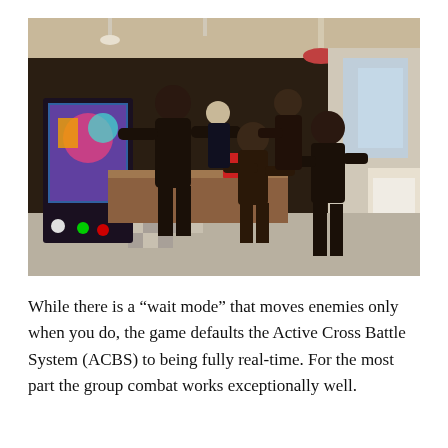[Figure (screenshot): Video game screenshot showing multiple dark-clothed characters in a diner/arcade setting with pinball machines on the left and a restaurant interior in the background. Characters appear to be in a fight or action sequence.]
While there is a “wait mode” that moves enemies only when you do, the game defaults the Active Cross Battle System (ACBS) to being fully real-time. For the most part the group combat works exceptionally well.